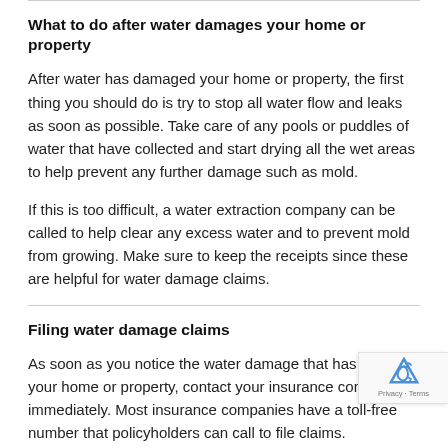What to do after water damages your home or property
After water has damaged your home or property, the first thing you should do is try to stop all water flow and leaks as soon as possible. Take care of any pools or puddles of water that have collected and start drying all the wet areas to help prevent any further damage such as mold.
If this is too difficult, a water extraction company can be called to help clear any excess water and to prevent mold from growing. Make sure to keep the receipts since these are helpful for water damage claims.
Filing water damage claims
As soon as you notice the water damage that has affected your home or property, contact your insurance company immediately. Most insurance companies have a toll-free number that policyholders can call to file claims.
Writing a notice to your insurance company can also be a good